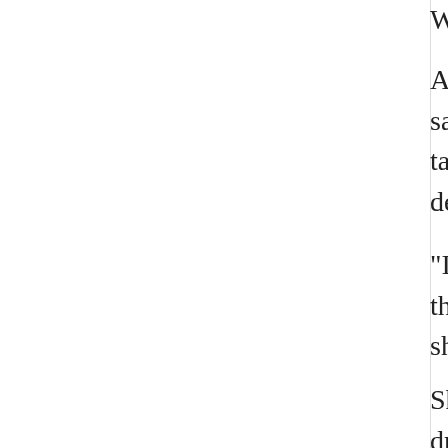Webcasts of the lecture and Nobel Prize
Asked about about applying her research, said it's an issue that should be addressed, talks taking place this month in Copenhagen decisions.
"I am very concerned that we not be persuaded there,' that international negotiations are, should just sit around and wait," she said.
She said it's also important that people driving less, using solar power and insulation, number of things people can be doing on well as reducing externalities," she said helping communities figure out better ways it could be discussed.